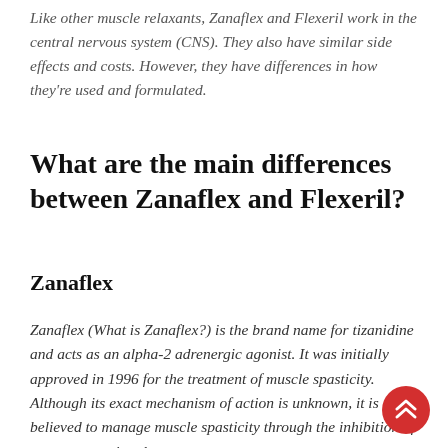Like other muscle relaxants, Zanaflex and Flexeril work in the central nervous system (CNS). They also have similar side effects and costs. However, they have differences in how they're used and formulated.
What are the main differences between Zanaflex and Flexeril?
Zanaflex
Zanaflex (What is Zanaflex?) is the brand name for tizanidine and acts as an alpha-2 adrenergic agonist. It was initially approved in 1996 for the treatment of muscle spasticity. Although its exact mechanism of action is unknown, it is believed to manage muscle spasticity through the inhibition of motor nerve signals.